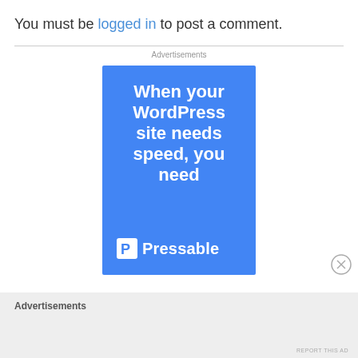You must be logged in to post a comment.
Advertisements
[Figure (infographic): Blue advertisement banner for Pressable WordPress hosting. White bold text reads 'When your WordPress site needs speed, you need' followed by the Pressable logo and brand name.]
Advertisements